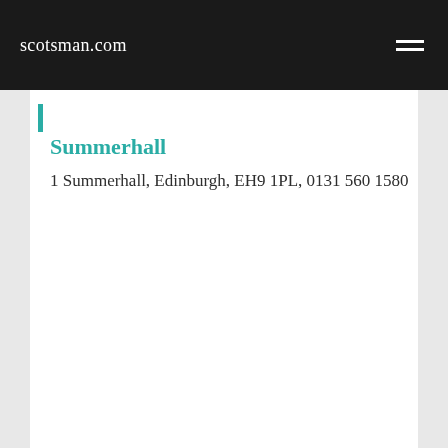scotsman.com
Summerhall
1 Summerhall, Edinburgh, EH9 1PL, 0131 560 1580